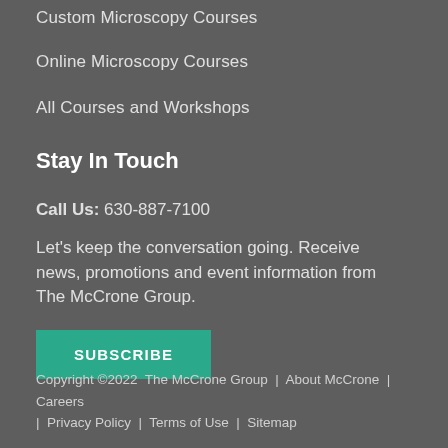Custom Microscopy Courses
Online Microscopy Courses
All Courses and Workshops
Stay In Touch
Call Us: 630-887-7100
Let's keep the conversation going. Receive news, promotions and event information from The McCrone Group.
SUBSCRIBE
Copyright ©2022  The McCrone Group  |  About McCrone  |  Careers  |  Privacy Policy  |  Terms of Use  |  Sitemap